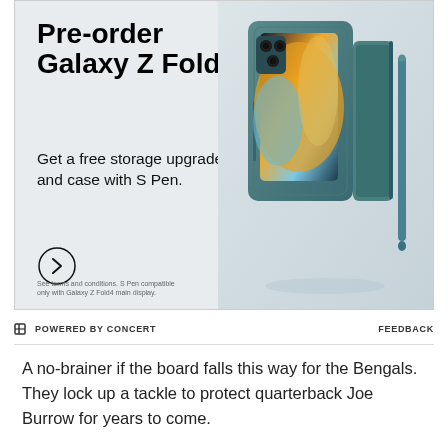[Figure (other): Samsung Galaxy Z Fold4 advertisement. Large bold text reads 'Pre-order Galaxy Z Fold4'. Below: 'Get a free storage upgrade and case with S Pen.' A circle arrow button. Fine print: 'See terms and conditions. S Pen compatible only with Galaxy Z Fold4 main display.' Phone and case product image on right side.]
POWERED BY CONCERT   FEEDBACK
A no-brainer if the board falls this way for the Bengals. They lock up a tackle to protect quarterback Joe Burrow for years to come.
6. Philadelphia Eagles - QB Zach Wilson, BYU
Wilson is a clear and obvious upgrade over Jalen Hurts